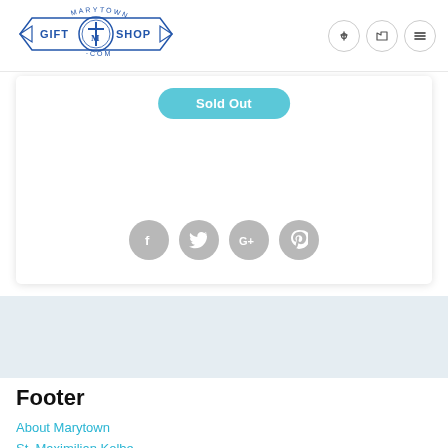[Figure (logo): Marytown Gift Shop .com logo with anchor/cross emblem and banner ribbon]
Sold Out
[Figure (infographic): Social share icons: Facebook, Twitter, Google+, Pinterest — all in gray circles]
Footer
About Marytown
St. Maximilian Kolbe